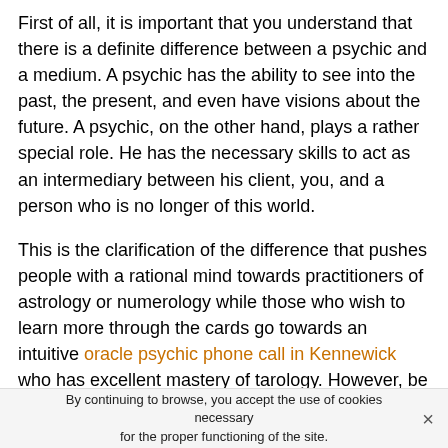First of all, it is important that you understand that there is a definite difference between a psychic and a medium. A psychic has the ability to see into the past, the present, and even have visions about the future. A psychic, on the other hand, plays a rather special role. He has the necessary skills to act as an intermediary between his client, you, and a person who is no longer of this world.
This is the clarification of the difference that pushes people with a rational mind towards practitioners of astrology or numerology while those who wish to learn more through the cards go towards an intuitive oracle psychic phone call in Kennewick who has excellent mastery of tarology. However, be careful not to be fooled by pseudo in Wenatchee psychics whose practices are centered on dubious beliefs such as magic, unblessing, witchcraft and anything that gives off negative energies. In these cases...
By continuing to browse, you accept the use of cookies necessary for the proper functioning of the site.